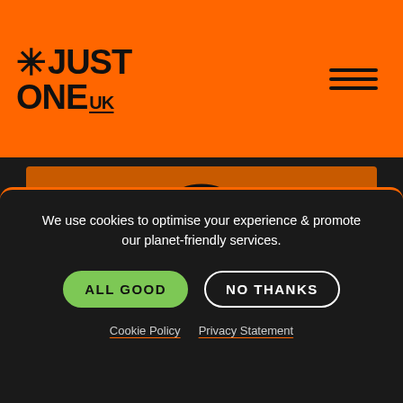[Figure (logo): JustOne.uk logo with asterisk star icon, black text on orange background]
[Figure (illustration): Head profile silhouette with heart inside, enclosed in a circle, on dark orange background. Text 'WE ARE' displayed below icon.]
We use cookies to optimise your experience & promote our planet-friendly services.
ALL GOOD
NO THANKS
Cookie Policy
Privacy Statement